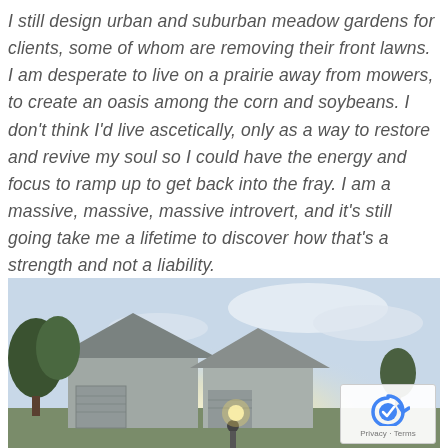I still design urban and suburban meadow gardens for clients, some of whom are removing their front lawns. I am desperate to live on a prairie away from mowers, to create an oasis among the corn and soybeans. I don't think I'd live ascetically, only as a way to restore and revive my soul so I could have the energy and focus to ramp up to get back into the fray. I am a massive, massive, massive introvert, and it's still going take me a lifetime to discover how that's a strength and not a liability.
[Figure (photo): Photograph of suburban houses with trees and bright sunlight in background, daytime sky with clouds.]